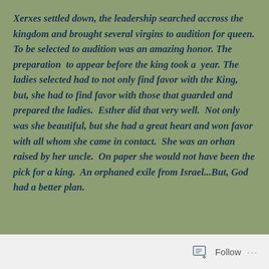Xerxes settled down, the leadership searched accross the kingdom and brought several virgins to audition for queen. To be selected to audition was an amazing honor. The preparation to appear before the king took a year. The ladies selected had to not only find favor with the King, but, she had to find favor with those that guarded and prepared the ladies. Esther did that very well. Not only was she beautiful, but she had a great heart and won favor with all whom she came in contact. She was an orhan raised by her uncle. On paper she would not have been the pick for a king. An orphaned exile from Israel...But, God had a better plan.
Follow ···